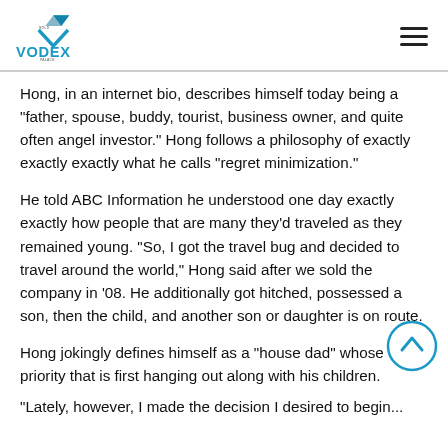VODEX logo and navigation menu
Hong, in an internet bio, describes himself today being a “father, spouse, buddy, tourist, business owner, and quite often angel investor.” Hong follows a philosophy of exactly exactly exactly what he calls “regret minimization.”
He told ABC Information he understood one day exactly exactly how people that are many they’d traveled as they remained young. “So, I got the travel bug and decided to travel around the world,” Hong said after we sold the company in ‘08. He additionally got hitched, possessed a son, then the child, and another son or daughter is on route.
Hong jokingly defines himself as a “house dad” whose priority that is first hanging out along with his children.
“Lately, however, I made the decision I desired to begin...